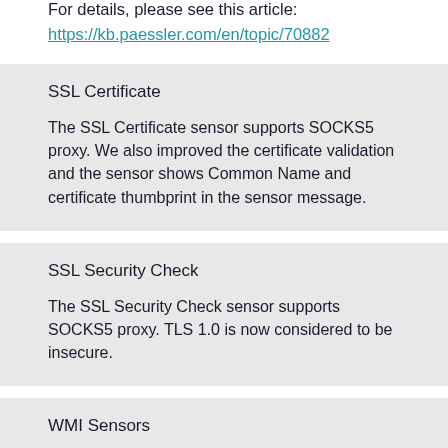For details, please see this article:
https://kb.paessler.com/en/topic/70882
SSL Certificate
The SSL Certificate sensor supports SOCKS5 proxy. We also improved the certificate validation and the sensor shows Common Name and certificate thumbprint in the sensor message.
SSL Security Check
The SSL Security Check sensor supports SOCKS5 proxy. TLS 1.0 is now considered to be insecure.
WMI Sensors
Various performance and stability improvements